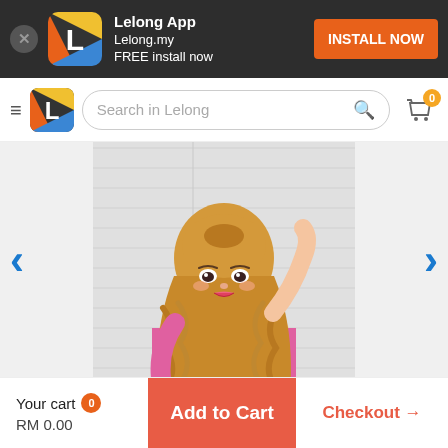Lelong App Lelong.my FREE install now | INSTALL NOW
Search in Lelong
[Figure (photo): Product photo of a woman with long wavy golden blonde hair, wearing a pink outfit, posing against a white background. Appears to be a wig product listing photo.]
Your cart 0 | RM 0.00 | Add to Cart | Checkout →